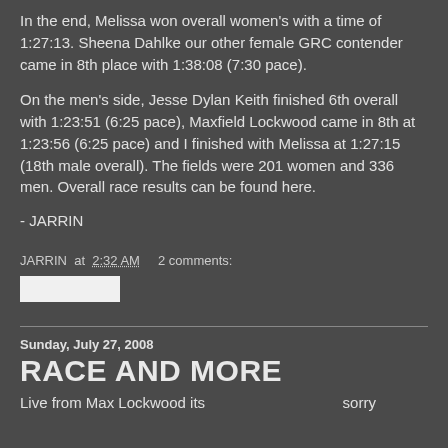In the end, Melissa won overall women's with a time of 1:27:13. Sheena Dahlke our other female GRC contender came in 8th place with 1:38:08 (7:30 pace).
On the men's side, Jesse Dylan Keith finished 6th overall with 1:23:51 (6:25 pace), Maxfield Lockwood came in 8th at 1:23:56 (6:25 pace) and I finished with Melissa at 1:27:15 (18th male overall). The fields were 201 women and 336 men. Overall race results can be found here.
- JARRIN
JARRIN at 2:32 AM    2 comments:
[Figure (other): Share/social button rectangle]
Sunday, July 27, 2008
RACE AND MORE
Live from Max Lockwood its                                                sorry